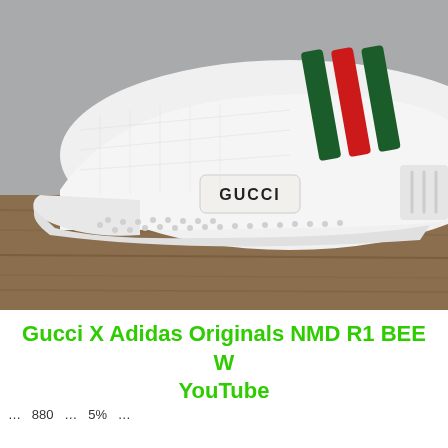[Figure (photo): Close-up photo of a white sneaker (Adidas NMD R1 with Gucci branding) placed on a wooden surface. The shoe has Adidas three-stripe design in dark green and red colors on the side, 'GUCCI' text embossed on a white heel tab, and a white boost sole. Background is grey.]
Gucci X Adidas Originals NMD R1 BEE W YouTube
...880 and 5%...